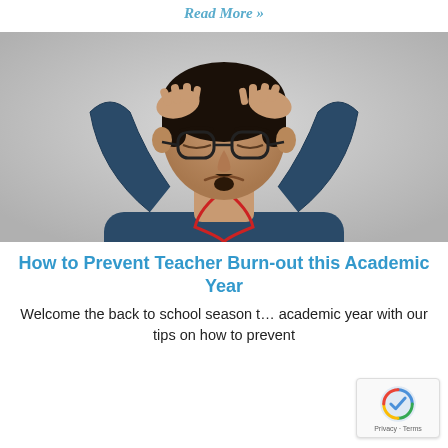Read More »
[Figure (photo): A stressed man with glasses grabbing his hair with both hands, wearing a dark blue zip-up jacket with a red lanyard, photographed against a light gray background.]
How to Prevent Teacher Burn-out this Academic Year
Welcome the back to school season t… academic year with our tips on how to prevent